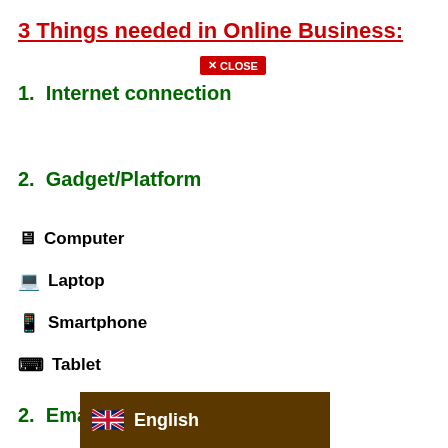3 Things needed in Online Business:
[Figure (other): Red close button with X CLOSE label]
1.  Internet connection
2.  Gadget/Platform
💻 Computer
💻 Laptop
📱 Smartphone
⌨ Tablet
2.  Email account can be used
[Figure (other): UK/English flag language selector overlay bar at bottom]